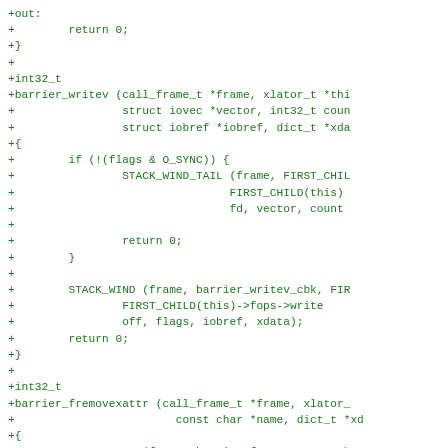+out:
+		return 0;
+}
+
+int32_t
+barrier_writev (call_frame_t *frame, xlator_t *thi
+				struct iovec *vector, int32_t coun
+				struct iobref *iobref, dict_t *xda
+{
+		if (!(flags & O_SYNC)) {
+				STACK_WIND_TAIL (frame, FIRST_CHIL
+								FIRST_CHILD(this)
+								fd, vector, count
+
+				return 0;
+		}
+
+		STACK_WIND (frame, barrier_writev_cbk, FIR
+				FIRST_CHILD(this)->fops->write
+				off, flags, iobref, xdata);
+		return 0;
+}
+
+int32_t
+barrier_fremovexattr (call_frame_t *frame, xlator_
+					const char *name, dict_t *xd
+{
+		STACK_WIND (frame, barrier_fremovexattr_cb
+				FIRST_CHILD (this)->fops->frem
+				fd, name, xdata);